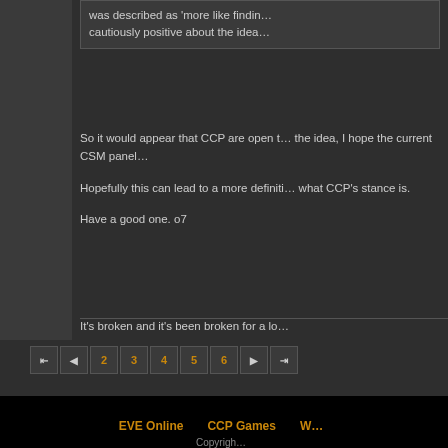was described as 'more like findin... cautiously positive about the idea...
So it would appear that CCP are open to the idea, I hope the current CSM panel...
Hopefully this can lead to a more definiti... what CCP's stance is.
Have a good one. o7
It's broken and it's been broken for a lo...
EVE Online   CCP Games   W...   Copyrigh...